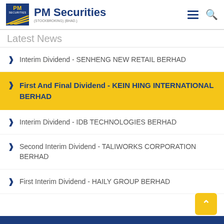PM Securities
Latest News
Interim Dividend - SENHENG NEW RETAIL BERHAD
First And Final Dividend - KEIN HING INTERNATIONAL BERHAD
Interim Dividend - IDB TECHNOLOGIES BERHAD
Second Interim Dividend - TALIWORKS CORPORATION BERHAD
First Interim Dividend - HAILY GROUP BERHAD